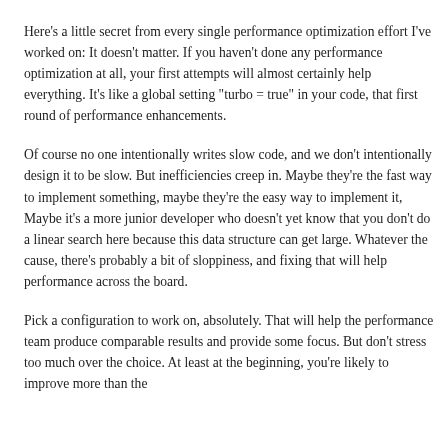should we try to make faster first?
Here's a little secret from every single performance optimization effort I've worked on: It doesn't matter. If you haven't done any performance optimization at all, your first attempts will almost certainly help everything. It's like a global setting "turbo = true" in your code, that first round of performance enhancements.
Of course no one intentionally writes slow code, and we don't intentionally design it to be slow. But inefficiencies creep in. Maybe they're the fast way to implement something, maybe they're the easy way to implement it, Maybe it's a more junior developer who doesn't yet know that you don't do a linear search here because this data structure can get large. Whatever the cause, there's probably a bit of sloppiness, and fixing that will help performance across the board.
Pick a configuration to work on, absolutely. That will help the performance team produce comparable results and provide some focus. But don't stress too much over the choice. At least at the beginning, you're likely to improve more than the